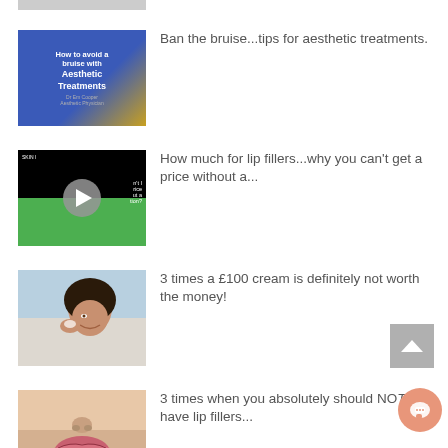[Figure (photo): Partial thumbnail image at top of page (cropped)]
[Figure (photo): Blue background image showing how to avoid a bruise with Aesthetic Treatments]
Ban the bruise...tips for aesthetic treatments.
[Figure (photo): Video thumbnail with play button - lip filler price video]
How much for lip fillers...why you can't get a price without a...
[Figure (photo): Woman smiling applying cream to her face]
3 times a £100 cream is definitely not worth the money!
[Figure (photo): Close-up of lips with lip gloss/filler treatment]
3 times when you absolutely should NOT have lip fillers...